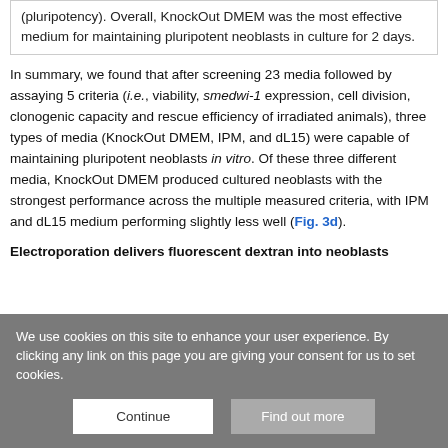(pluripotency). Overall, KnockOut DMEM was the most effective medium for maintaining pluripotent neoblasts in culture for 2 days.
In summary, we found that after screening 23 media followed by assaying 5 criteria (i.e., viability, smedwi-1 expression, cell division, clonogenic capacity and rescue efficiency of irradiated animals), three types of media (KnockOut DMEM, IPM, and dL15) were capable of maintaining pluripotent neoblasts in vitro. Of these three different media, KnockOut DMEM produced cultured neoblasts with the strongest performance across the multiple measured criteria, with IPM and dL15 medium performing slightly less well (Fig. 3d).
Electroporation delivers fluorescent dextran into neoblasts
We use cookies on this site to enhance your user experience. By clicking any link on this page you are giving your consent for us to set cookies.